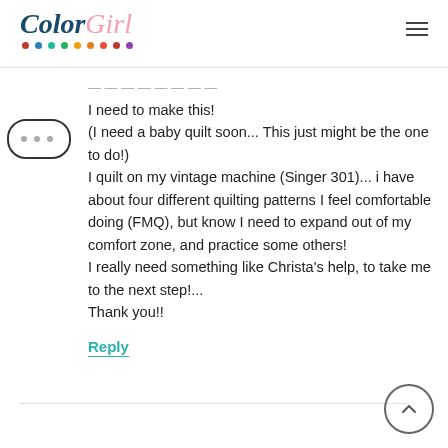ColorGirl
[Figure (illustration): Speech bubble icon with three dots (ellipsis)]
I need to make this!
(I need a baby quilt soon... This just might be the one to do!)
I quilt on my vintage machine (Singer 301)... i have about four different quilting patterns I feel comfortable doing (FMQ), but know I need to expand out of my comfort zone, and practice some others!
I really need something like Christa’s help, to take me to the next step!...
Thank you!!
Reply